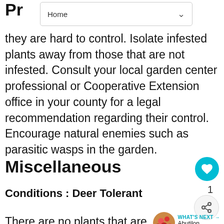Pr...
they are hard to control. Isolate infested plants away from those that are not infested. Consult your local garden center professional or Cooperative Extension office in your county for a legal recommendation regarding their control. Encourage natural enemies such as parasitic wasps in the garden.
Miscellaneous
Conditions : Deer Tolerant
There are no plants that are 100% deer resistant, but many that are deer tolerant. There are plants that have a preference over the...